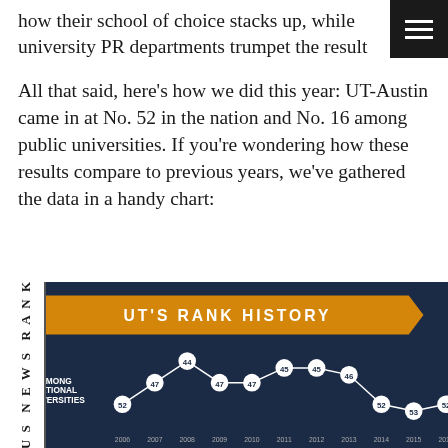how their school of choice stacks up, while university PR departments trumpet the result
All that said, here's how we did this year: UT-Austin came in at No. 52 in the nation and No. 16 among public universities. If you're wondering how these results compare to previous years, we've gathered the data in a handy chart:
[Figure (line-chart): UT'S RANK HISTORY]